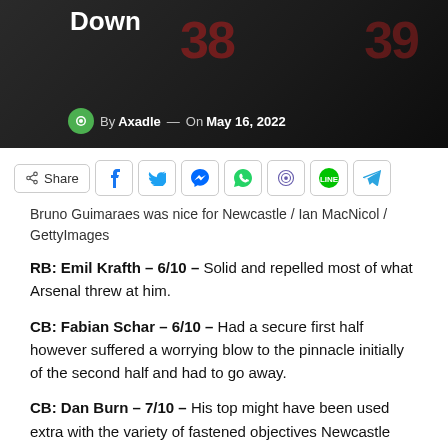[Figure (photo): Dark sports image with jerseys numbered 38 and 39, with title text 'Down' and byline 'By Axadle — On May 16, 2022']
[Figure (other): Social share bar with Share button, Facebook, Twitter, Messenger, WhatsApp, Viber, Line, and Telegram icons]
Bruno Guimaraes was nice for Newcastle / Ian MacNicol / GettyImages
RB: Emil Krafth – 6/10 – Solid and repelled most of what Arsenal threw at him.
CB: Fabian Schar – 6/10 – Had a secure first half however suffered a worrying blow to the pinnacle initially of the second half and had to go away.
CB: Dan Burn – 7/10 – His top might have been used extra with the variety of fastened objectives Newcastle had. Made